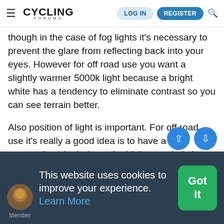CYCLING FORUMS — LOG IN | REGISTER
though in the case of fog lights it's necessary to prevent the glare from reflecting back into your eyes. However for off road use you want a slightly warmer 5000k light because a bright white has a tendency to eliminate contrast so you can see terrain better.
Also position of light is important. For off road use it's really a good idea is to have a light mounted on the helmet, the higher angle helps see terrain detail better than a light mounted on the bars, however most off road riders use both. Off road vehicles do the same thing, a bar light mounted high in combination with their headligh
This website uses cookies to improve your experience. Learn More